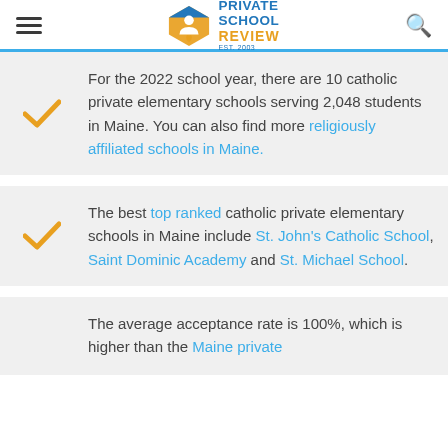Private School Review
For the 2022 school year, there are 10 catholic private elementary schools serving 2,048 students in Maine. You can also find more religiously affiliated schools in Maine.
The best top ranked catholic private elementary schools in Maine include St. John's Catholic School, Saint Dominic Academy and St. Michael School.
The average acceptance rate is 100%, which is higher than the Maine private...